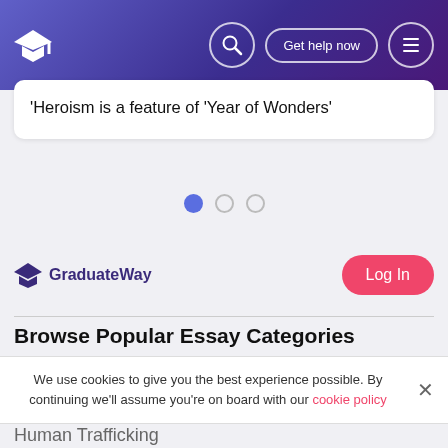GraduateWay – Get help now
'Heroism is a feature of 'Year of Wonders'
[Figure (other): Pagination indicator: three dots, first dot filled blue, two unfilled]
GraduateWay
Log In
Browse Popular Essay Categories
Black Lives Matter
We use cookies to give you the best experience possible. By continuing we'll assume you're on board with our cookie policy
Human Trafficking